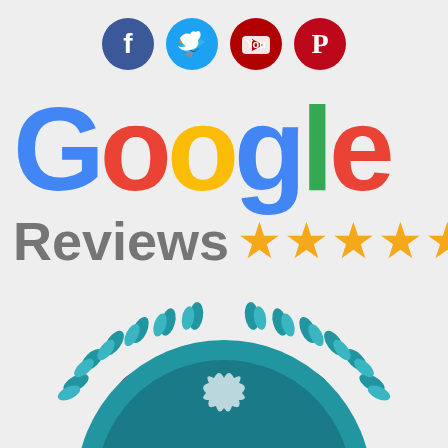[Figure (illustration): Social media icons row: Facebook (blue circle, f), Twitter (light blue circle, bird), YouTube (dark red circle, play triangle), Pinterest (red circle, P)]
[Figure (logo): Google Reviews logo: large colorful Google wordmark in blue, red, yellow, blue, green, red letters, followed by 'Reviews' in gray and five gold stars]
[Figure (illustration): Red rounded-rectangle button with white uppercase text 'REVIEWS']
[Figure (illustration): Partial teal/blue award badge with laurel wreath design, partially visible at bottom of page]